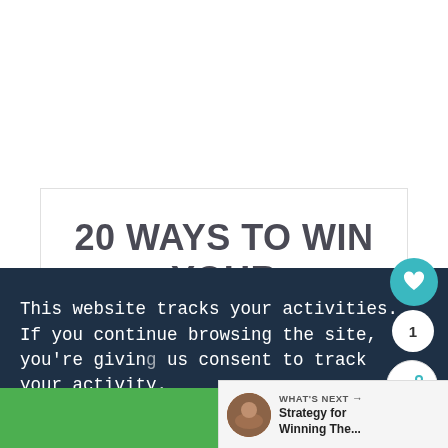20 WAYS TO WIN YOUR CHILD'S HEART
This website tracks your activities. If you continue browsing the site, you're giving us consent to track your activity.
Continue Browsing
WHAT'S NEXT → Strategy for Winning The...